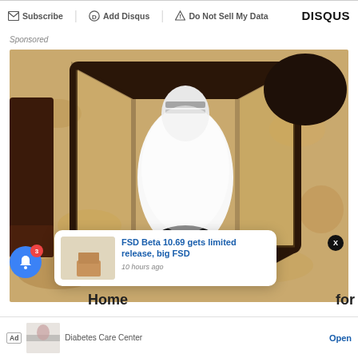Subscribe  Add Disqus  Do Not Sell My Data  DISQUS
Sponsored
[Figure (photo): Close-up photo of an outdoor wall lantern fixture with a white bulb-shaped security camera installed inside the black metal lantern, mounted on a textured stucco wall]
[Figure (screenshot): Popup notification card showing thumbnail image and text: FSD Beta 10.69 gets limited release, big FSD — 10 hours ago]
[Figure (screenshot): Ad bar at bottom: Diabetes Care Center — Open button]
Home for